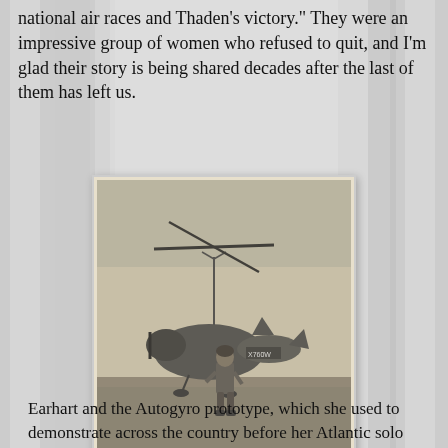national air races and Thaden's victory.” They were an impressive group of women who refused to quit, and I’m glad their story is being shared decades after the last of them has left us.
[Figure (photo): Black and white vintage photograph of Amelia Earhart standing in front of an Autogyro aircraft on grass. She is wearing a flight suit and helmet. The aircraft's registration number X760W is visible on the fuselage.]
Earhart and the Autogyro prototype, which she used to demonstrate across the country before her Atlantic solo